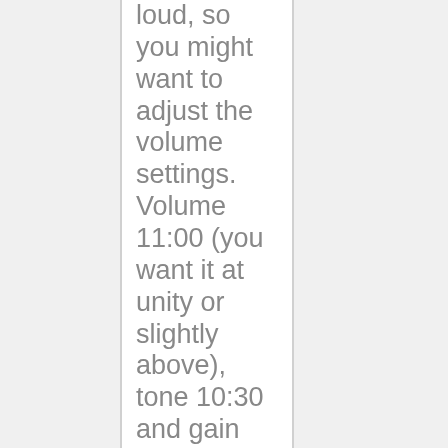loud, so you might want to adjust the volume settings. Volume 11:00 (you want it at unity or slightly above), tone 10:30 and gain 1:00